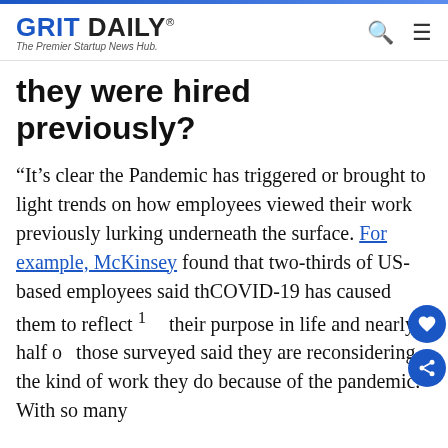GRIT DAILY® — The Premier Startup News Hub.
they were hired previously?
“It’s clear the Pandemic has triggered or brought to light trends on how employees viewed their work previously lurking underneath the surface. For example, McKinsey found that two-thirds of US-based employees said that COVID-19 has caused them to reflect on their purpose in life and nearly half of those surveyed said they are reconsidering the kind of work they do because of the pandemic. With so many